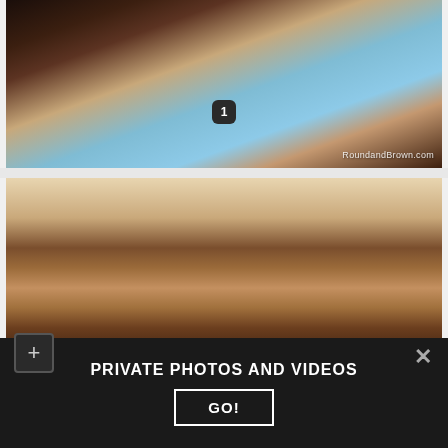[Figure (photo): Close-up photo of a person in a black bikini top from behind, with long curly dark hair, near a pool with blue water. Watermark reads RoundandBrown.com. Badge with number 1 overlaid.]
[Figure (photo): Close-up portrait photo of a person lifting a purple head wrap/garment over their head with both hands, showing hair with bangs and hoop earrings, with light background.]
PRIVATE PHOTOS AND VIDEOS
GO!